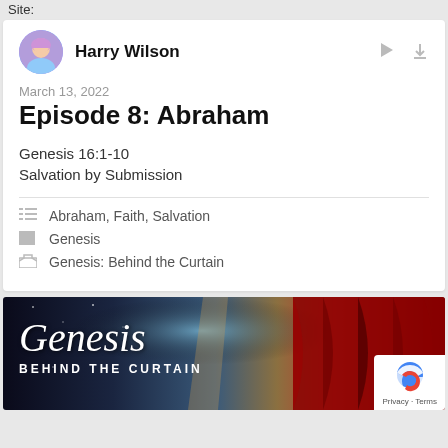Site:
Harry Wilson
March 13, 2022
Episode 8: Abraham
Genesis 16:1-10
Salvation by Submission
Abraham, Faith, Salvation
Genesis
Genesis: Behind the Curtain
[Figure (illustration): Banner image for 'Genesis: Behind the Curtain' series showing cosmic/space imagery on left transitioning to red stage curtain on right, with white text overlay reading 'Genesis BEHIND THE CURTAIN']